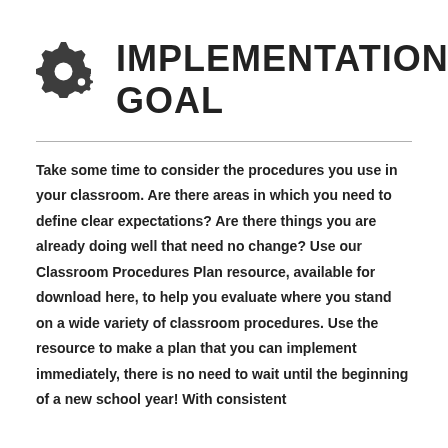IMPLEMENTATION GOAL
Take some time to consider the procedures you use in your classroom. Are there areas in which you need to define clear expectations? Are there things you are already doing well that need no change? Use our Classroom Procedures Plan resource, available for download here, to help you evaluate where you stand on a wide variety of classroom procedures. Use the resource to make a plan that you can implement immediately, there is no need to wait until the beginning of a new school year! With consistent